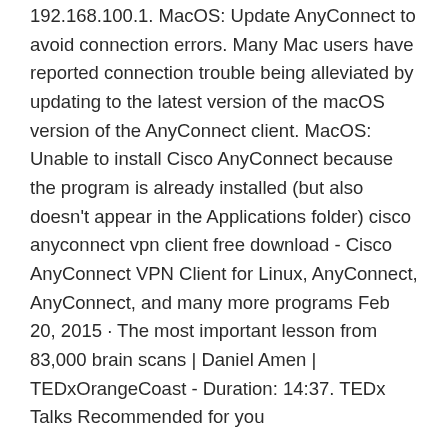192.168.100.1. MacOS: Update AnyConnect to avoid connection errors. Many Mac users have reported connection trouble being alleviated by updating to the latest version of the macOS version of the AnyConnect client. MacOS: Unable to install Cisco AnyConnect because the program is already installed (but also doesn't appear in the Applications folder) cisco anyconnect vpn client free download - Cisco AnyConnect VPN Client for Linux, AnyConnect, AnyConnect, and many more programs Feb 20, 2015 · The most important lesson from 83,000 brain scans | Daniel Amen | TEDxOrangeCoast - Duration: 14:37. TEDx Talks Recommended for you
ass high
regarder cbs sport
windows 7 internet slow
bypass corporate firewall
ai-je besoin dun vpn avec un vrai débrid
watch live bt sport
que peut faire quelquun avec une adresse ip